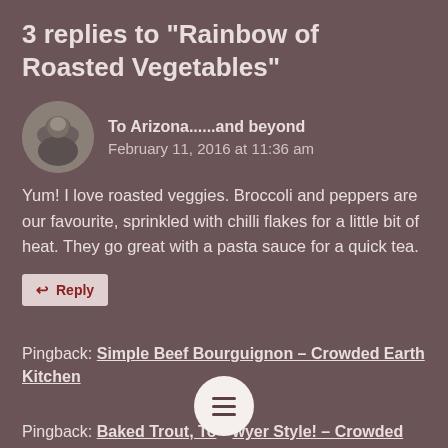3 replies to “Rainbow of Roasted Vegetables”
To Arizona......and beyond
February 11, 2016 at 11:36 am
Yum! I love roasted veggies. Broccoli and peppers are our favourite, sprinkled with chilli flakes for a little bit of heat. They go great with a pasta sauce for a quick tea.
↩ Reply
Pingback: Simple Beef Bourguignon – Crowded Earth Kitchen
Pingback: Baked Trout, To...wyer Style! – Crowded Earth Kitchen